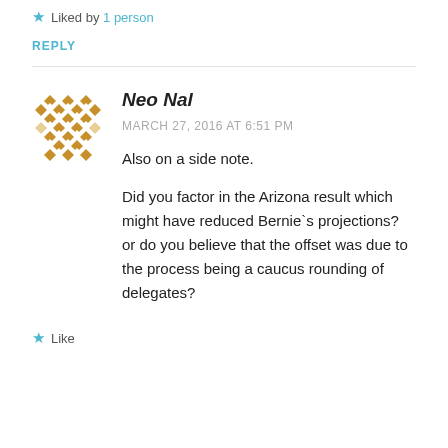Liked by 1 person
REPLY
[Figure (illustration): Golden geometric diamond/lattice pattern avatar icon for user Neo Nal]
Neo Nal
MARCH 27, 2016 AT 6:51 PM
Also on a side note.
Did you factor in the Arizona result which might have reduced Bernie`s projections? or do you believe that the offset was due to the process being a caucus rounding of delegates?
Like